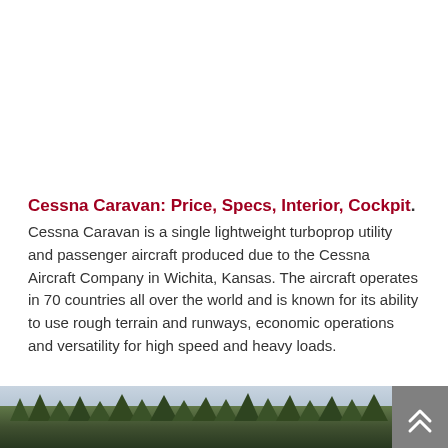Cessna Caravan: Price, Specs, Interior, Cockpit.
Cessna Caravan is a single lightweight turboprop utility and passenger aircraft produced due to the Cessna Aircraft Company in Wichita, Kansas. The aircraft operates in 70 countries all over the world and is known for its ability to use rough terrain and runways, economic operations and versatility for high speed and heavy loads.
[Figure (photo): Partial view of trees and sky at the bottom of the page, likely showing a Cessna Caravan aircraft in a forested/outdoor setting]